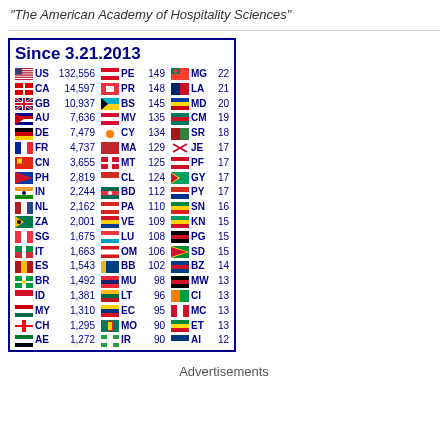"The American Academy of Hospitality Sciences"
| Flag | CC | Count | Flag | CC | Count | Flag | CC | Count |
| --- | --- | --- | --- | --- | --- | --- | --- | --- |
| US | 132,556 | PE | 149 | MG | 22 |
| CA | 14,597 | PR | 148 | LA | 21 |
| GB | 10,937 | BS | 145 | MD | 20 |
| AU | 7,636 | MV | 135 | CM | 19 |
| DE | 7,479 | CY | 134 | SR | 18 |
| FR | 4,737 | MA | 129 | JE | 17 |
| CN | 3,655 | MT | 125 | PF | 17 |
| PH | 2,819 | CL | 124 | GY | 17 |
| IN | 2,244 | BD | 112 | PY | 17 |
| NL | 2,162 | PA | 110 | SN | 16 |
| ZA | 2,001 | VE | 109 | KN | 15 |
| SG | 1,675 | LU | 108 | PG | 15 |
| IT | 1,663 | OM | 106 | SD | 15 |
| ES | 1,543 | BB | 102 | BZ | 14 |
| BR | 1,492 | MU | 98 | MW | 13 |
| ID | 1,381 | LT | 96 | CI | 13 |
| MY | 1,310 | EC | 95 | MC | 13 |
| CH | 1,295 | MO | 90 | ET | 13 |
| AE | 1,272 | IR | 90 | AI | 12 |
Advertisements